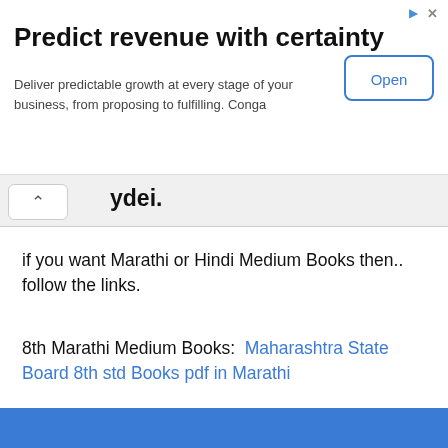[Figure (screenshot): Advertisement banner: 'Predict revenue with certainty' with Open button and close/ad icons]
if you want Marathi or Hindi Medium Books then.. follow the links.
8th Marathi Medium Books:  Maharashtra State Board 8th std Books pdf in Marathi
8th Hindi Medium Books: Maharashtra State Board 8th std Books pdf in Hindi
[Figure (screenshot): Bottom partial banner, blue background with partial logo/icon visible]